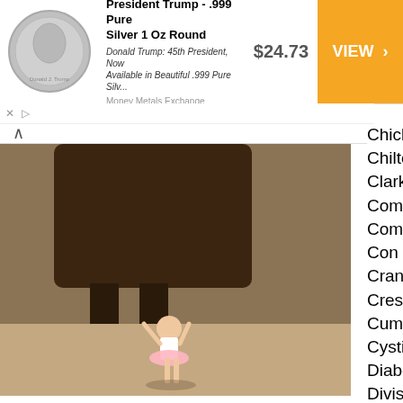[Figure (photo): Advertisement banner: Donald Trump silver coin on left, text 'President Trump - .999 Pure Silver 1 Oz Round', description, price $24.73, orange VIEW button]
[Figure (photo): Photo of a small toddler in a pink tutu reaching up to touch a horse's leg on a sandy beach]
Happy Mothers Day, we think you will enjoy these pics, thank you for being our Mom
[Figure (photo): Photo of a man in a suit at what appears to be the Film Independent Spirit Awards event]
Chicken Bone Beach Historical Found...
Chilton Medical Center Auxiliary
Clark Historical society
Community Presbyterian Church
Community Presbyterian Church
Con Vivo Music
Cranbury Education Foundation
Crescent Concerts
Cumberland County Fair Association
Cystic Fibrosis Foundation Greater Ne...
Diabetes Foundation Inc.
Division of Planning, County of Susse...
Epilepsy Services of New Jersey
Ethical Brew
Fair lawn High School Planetarium
Family & Community Serices of Some...
Family Promise of Cumberland County...
Family Promise of Warren County
FHS Project Graduation
Flemington Community Partnership